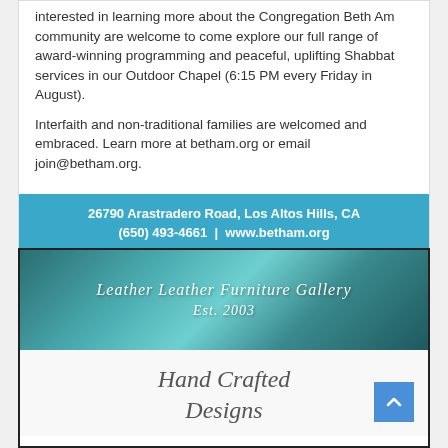interested in learning more about the Congregation Beth Am community are welcome to come explore our full range of award-winning programming and peaceful, uplifting Shabbat services in our Outdoor Chapel (6:15 PM every Friday in August).
Interfaith and non-traditional families are welcomed and embraced. Learn more at betham.org or email join@betham.org.
26790 Arastradero Road, Los Altos Hills, CA
(650) 493-4661 | www.betham.org
[Figure (illustration): Leather Leather Furniture Gallery advertisement banner with teal swirling marble/fabric texture background and white italic text reading 'Leather Leather Furniture Gallery Est. 2003']
Hand Crafted
Designs